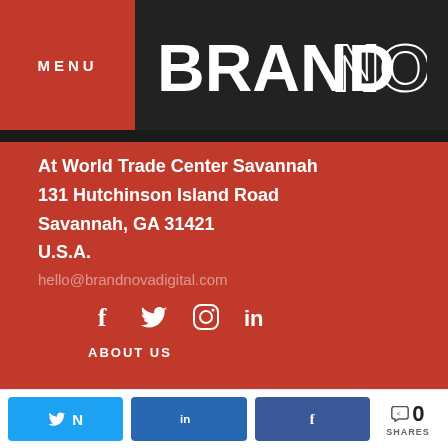MENU
BRANDNOVA
At World Trade Center Savannah
131 Hutchinson Island Road
Savannah, GA 31421
U.S.A.
hello@brandnovadigital.com
[Figure (infographic): Social media icons: Facebook, Twitter, Instagram, LinkedIn]
ABOUT US
BY CONTINUING TO USE THIS SITE YOU CONSENT TO THE USE OF COOKIES ON YOUR DEVICE AS DESCRIBED IN OUR COOKIE POLICY
0 SHARES